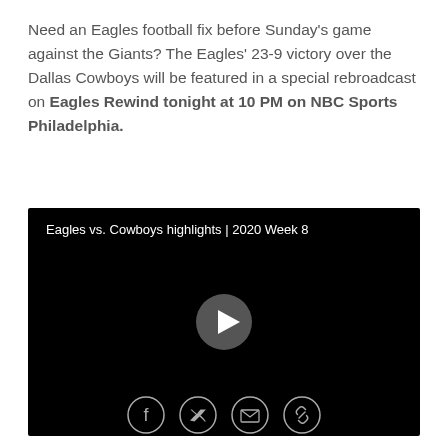Need an Eagles football fix before Sunday's game against the Giants? The Eagles' 23-9 victory over the Dallas Cowboys will be featured in a special rebroadcast on Eagles Rewind tonight at 10 PM on NBC Sports Philadelphia.
[Figure (screenshot): Video player with black background showing 'Eagles vs. Cowboys highlights | 2020 Week 8' title and a circular play button in the center]
[Figure (other): Social share icons: Facebook, Twitter, Email, and Link/chain icon]